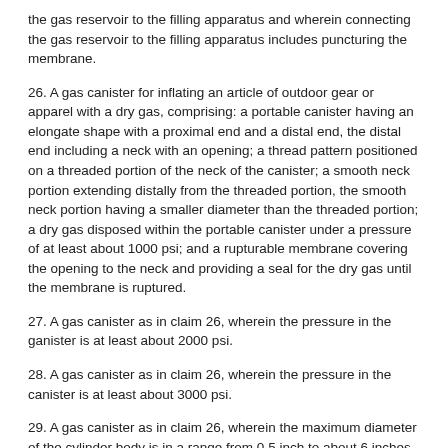the gas reservoir to the filling apparatus and wherein connecting the gas reservoir to the filling apparatus includes puncturing the membrane.
26. A gas canister for inflating an article of outdoor gear or apparel with a dry gas, comprising: a portable canister having an elongate shape with a proximal end and a distal end, the distal end including a neck with an opening; a thread pattern positioned on a threaded portion of the neck of the canister; a smooth neck portion extending distally from the threaded portion, the smooth neck portion having a smaller diameter than the threaded portion; a dry gas disposed within the portable canister under a pressure of at least about 1000 psi; and a rupturable membrane covering the opening to the neck and providing a seal for the dry gas until the membrane is ruptured.
27. A gas canister as in claim 26, wherein the pressure in the ganister is at least about 2000 psi.
28. A gas canister as in claim 26, wherein the pressure in the canister is at least about 3000 psi.
29. A gas canister as in claim 26, wherein the maximum diameter of the cylinder body is in a range from 0.5 inch to about 6 inches.